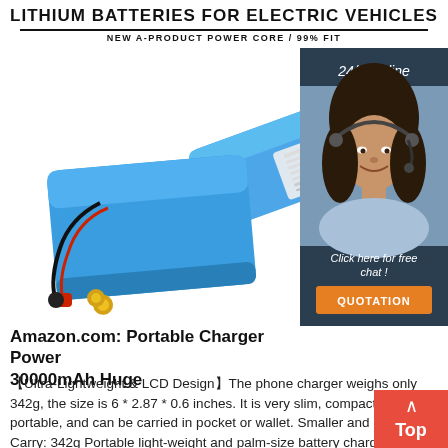LITHIUM BATTERIES FOR ELECTRIC VEHICLES
NEW A-PRODUCT POWER CORE / 99% FIT
[Figure (photo): Two blue lithium battery packs for electric vehicles with wires and connectors, alongside a customer service agent photo in a dark teal sidebar showing '24/7 Online', 'Click here for free chat!', and 'QUOTATION' button]
Amazon.com: Portable Charger Power 30000mAh Huge
【Ultra-Lightweight & LCD Design】The phone charger weighs only 342g, the size is 6 * 2.87 * 0.6 inches. It is very slim, compact and portable, and can be carried in pocket or wallet. Smaller and Lighter to Carry: 342g Portable light-weight and palm-size battery chargers are very suitable and convenient to carry during walking